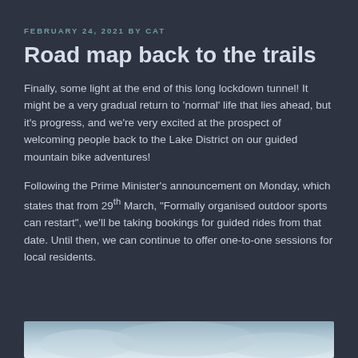FEBRUARY 24, 2021 BY CAT
Road map back to the trails
Finally, some light at the end of this long lockdown tunnel! It might be a very gradual return to ‘normal’ life that lies ahead, but it’s progress, and we’re very excited at the prospect of welcoming people back to the Lake District on our guided mountain bike adventures!
Following the Prime Minister’s announcement on Monday, which states that from 29th March, “Formally organised outdoor sports can restart”, we’ll be taking bookings for guided rides from that date. Until then, we can continue to offer one-to-one sessions for local residents.
[Figure (photo): Partial view of a mountain or sky scene, light blue-grey tones, appears to be a mountain bike trail or snowy landscape]